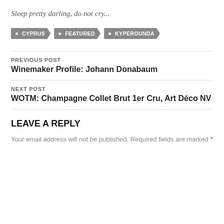Sleep pretty darling, do not cry...
CYPRUS
FEATURED
KYPEROUNDA
PREVIOUS POST
Winemaker Profile: Johann Donabaum
NEXT POST
WOTM: Champagne Collet Brut 1er Cru, Art Déco NV
LEAVE A REPLY
Your email address will not be published. Required fields are marked *